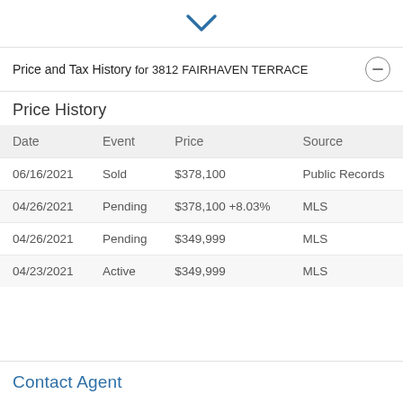[Figure (other): Blue downward chevron/arrow icon indicating a collapsible section]
Price and Tax History for 3812 FAIRHAVEN TERRACE
Price History
| Date | Event | Price | Source |
| --- | --- | --- | --- |
| 06/16/2021 | Sold | $378,100 | Public Records |
| 04/26/2021 | Pending | $378,100 +8.03% | MLS |
| 04/26/2021 | Pending | $349,999 | MLS |
| 04/23/2021 | Active | $349,999 | MLS |
Contact Agent